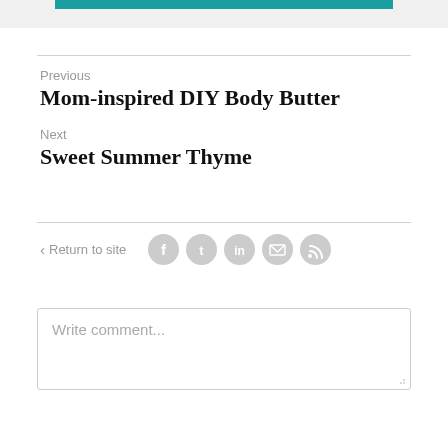Previous
Mom-inspired DIY Body Butter
Next
Sweet Summer Thyme
< Return to site
[Figure (other): Social media icons: Facebook, Twitter, LinkedIn, Email, RSS feed]
Write comment...